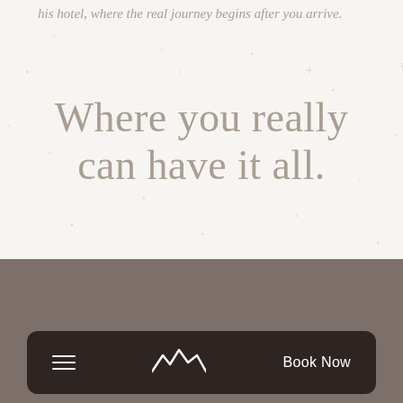his hotel, where the real journey begins after you arrive.
Where you really can have it all.
[Figure (screenshot): Dark navigation bar with hamburger menu icon on left, mountain/wave logo in center, and 'Book Now' button on right, on a brownish-gray background.]